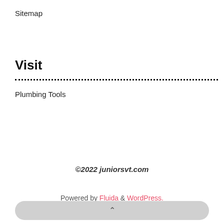Sitemap
Visit
Plumbing Tools
©2022 juniorsvt.com
Powered by Fluida & WordPress.